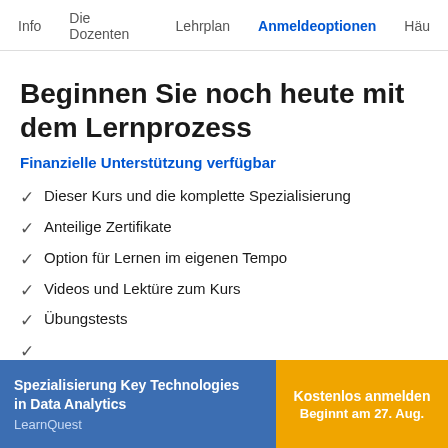Info   Die Dozenten   Lehrplan   Anmeldeoptionen   Häu
Beginnen Sie noch heute mit dem Lernprozess
Finanzielle Unterstützung verfügbar
Dieser Kurs und die komplette Spezialisierung
Anteilige Zertifikate
Option für Lernen im eigenen Tempo
Videos und Lektüre zum Kurs
Übungstests
Bewertete Aufgaben mit Feedback von anderen
Spezialisierung Key Technologies in Data Analytics
LearnQuest
Kostenlos anmelden
Beginnt am 27. Aug.